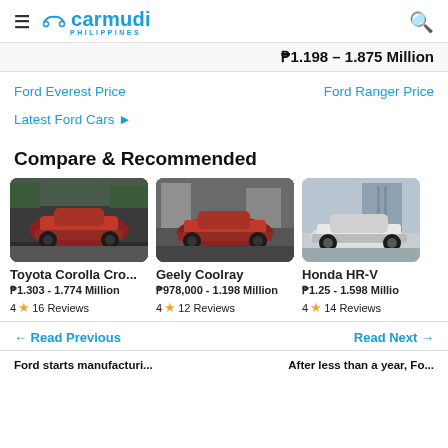carmudi PHILIPPINES
₱1.198 – 1.875 Million
Ford Everest Price
Ford Ranger Price
Latest Ford Cars →
Compare & Recommended
[Figure (photo): Toyota Corolla Cross - red SUV on road]
[Figure (photo): Geely Coolray - red SUV on street]
[Figure (photo): Honda HR-V - white SUV on display]
Toyota Corolla Cro...
₱1.303 - 1.774 Million
4 ★ 16 Reviews
Geely Coolray
₱978,000 - 1.198 Million
4 ★ 12 Reviews
Honda HR-V
₱1.25 - 1.598 Million
4 ★ 14 Reviews
← Read Previous
Read Next →
Ford starts manufacturi...
After less than a year, Fo...